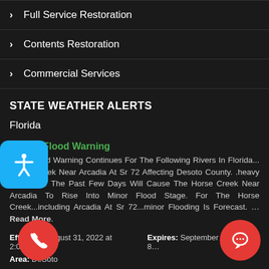> Full Service Restoration
> Contents Restoration
> Commercial Services
STATE WEATHER ALERTS
Florida
Flood Warning
...the Flood Warning Continues For The Following Rivers In Florida... Horse Creek Near Arcadia At Sr 72 Affecting Desoto County. .heavy Rain Over The Past Few Days Will Cause The Horse Creek Near Arcadia To Rise Into Minor Flood Stage. For The Horse Creek...including Arcadia At Sr 72...minor Flooding Is Forecast. ...Read More.
Effective: August 31, 2022 at 2:00pm   Expires: September 1, 2022 at 8...
Area: DeSoto